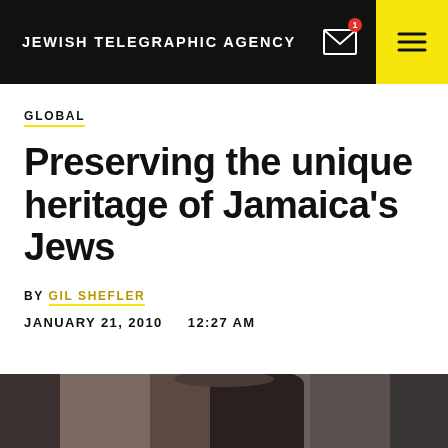JEWISH TELEGRAPHIC AGENCY
GLOBAL
Preserving the unique heritage of Jamaica's Jews
BY GIL SHEFLER
JANUARY 21, 2010   12:27 AM
[Figure (photo): Partial view of a person, bottom strip of a photograph visible at the bottom of the page]